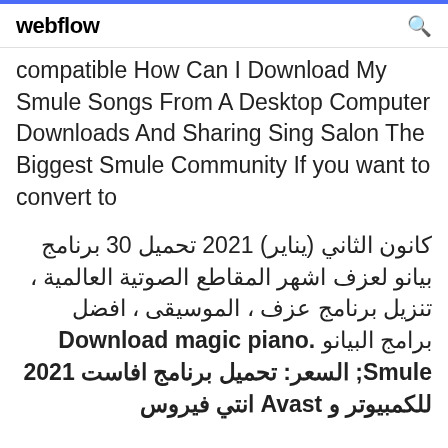webflow
compatible How Can I Download My Smule Songs From A Desktop Computer Downloads And Sharing Sing Salon The Biggest Smule Community If you want to convert to
كانون الثاني (يناير) 2021 تحميل 30 برنامج بيانو لعزف اشهر المقاطع الصوتية العالمية ، تنزيل برنامج عزف ، الموسيقى ، افضل برامج البيانو Download magic piano. Smule; السعر: تحميل برنامج افاست 2021 للكمبيوتر و Avast انتي فيروس